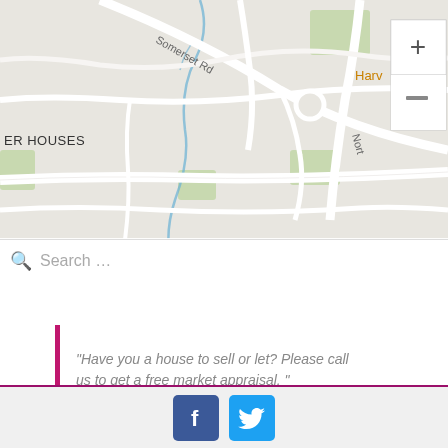[Figure (map): Google Maps screenshot showing street map with Somerset Rd, North road labels, Google logo, zoom controls (+/-), ER HOUSES label, Harv label in orange, keyboard shortcuts and map data copyright footer. Search bar below map.]
"Have you a house to sell or let? Please call us to get a free market appraisal. "
[Figure (other): Facebook and Twitter social media icons in footer area]